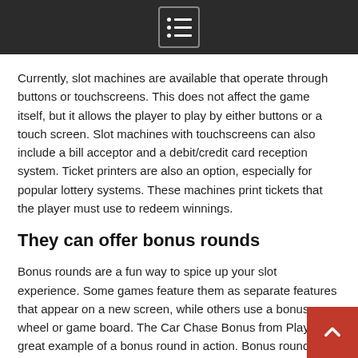[Menu icon]
Currently, slot machines are available that operate through buttons or touchscreens. This does not affect the game itself, but it allows the player to play by either buttons or a touch screen. Slot machines with touchscreens can also include a bill acceptor and a debit/credit card reception system. Ticket printers are also an option, especially for popular lottery systems. These machines print tickets that the player must use to redeem winnings.
They can offer bonus rounds
Bonus rounds are a fun way to spice up your slot experience. Some games feature them as separate features that appear on a new screen, while others use a bonus wheel or game board. The Car Chase Bonus from Play'n is a great example of a bonus round in action. Bonus rounds are an excellent way to boost your winning potential and